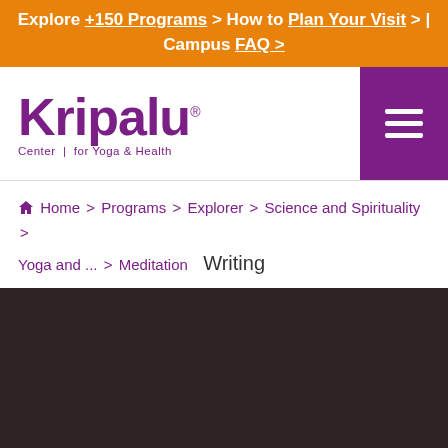Explore +150 Programs > How to Plan Your Visit > | Campus FAQ >
[Figure (logo): Kripalu Center for Yoga & Health logo in purple text with registered trademark symbol, alongside a purple hamburger menu button]
Home > Programs > Explorer > Science and Spirituality > Yoga and ... > Meditation  Writing
[Figure (photo): Dark brown/maroon background image area (content not fully visible)]